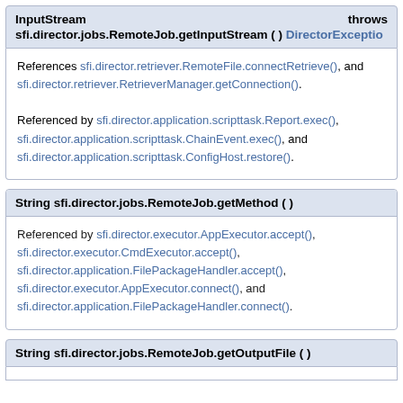InputStream    throws
sfi.director.jobs.RemoteJob.getInputStream ( )  DirectorException
References sfi.director.retriever.RemoteFile.connectRetrieve(), and sfi.director.retriever.RetrieverManager.getConnection().

Referenced by sfi.director.application.scripttask.Report.exec(), sfi.director.application.scripttask.ChainEvent.exec(), and sfi.director.application.scripttask.ConfigHost.restore().
String sfi.director.jobs.RemoteJob.getMethod ( )
Referenced by sfi.director.executor.AppExecutor.accept(), sfi.director.executor.CmdExecutor.accept(), sfi.director.application.FilePackageHandler.accept(), sfi.director.executor.AppExecutor.connect(), and sfi.director.application.FilePackageHandler.connect().
String sfi.director.jobs.RemoteJob.getOutputFile ( )